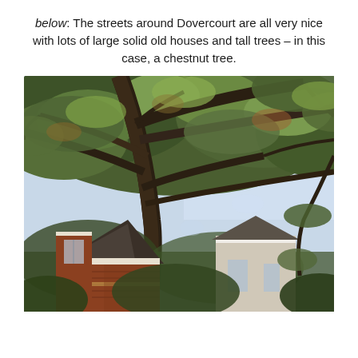below: The streets around Dovercourt are all very nice with lots of large solid old houses and tall trees – in this case, a chestnut tree.
[Figure (photo): Photograph taken from below looking upward at a large chestnut tree with spreading branches and green leaves, with a red-brick Victorian house visible in the lower left and another house in the background against a bright sky.]